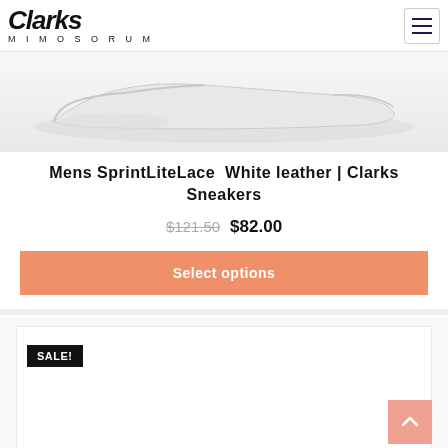Clarks Mimosorum
[Figure (photo): White Clarks sneaker shoe photographed from the side on a light grey/white background]
Mens SprintLiteLace White leather | Clarks Sneakers
$121.50 $82.00
Select options
SALE!